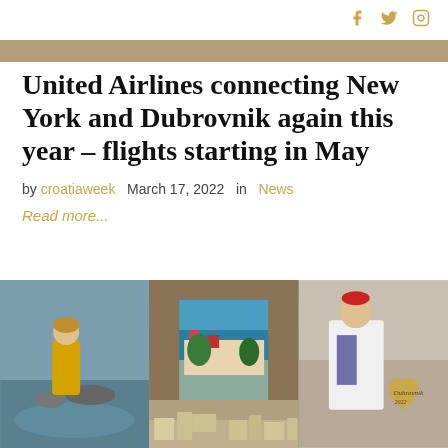social icons: facebook, twitter, instagram
[Figure (photo): Top banner image of a scenic view, partially visible]
United Airlines connecting New York and Dubrovnik again this year – flights starting in May
by croatiaweek  March 17, 2022  in  News
Read more...
[Figure (photo): Three photos of Dubrovnik: left - woman in yellow dress by water, center top - view through stone arch of Dubrovnik coastline, center bottom - Dubrovnik old town rooftops, right - person in traditional Croatian costume holding Dubrovnik sign]